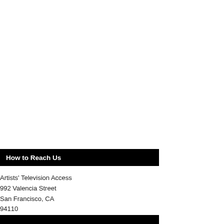How to Reach Us
Artists' Television Access
992 Valencia Street
San Francisco, CA
94110
(415) 824-3890
ata@atasite.org